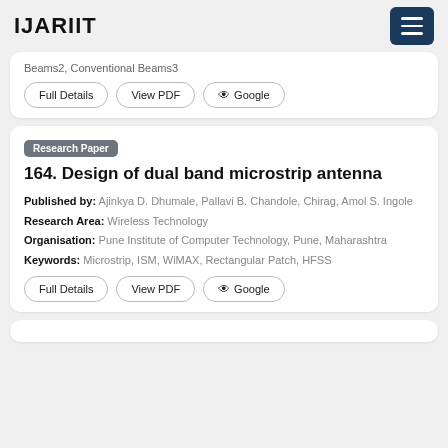IJARIIT
Beams2, Conventional Beams3
Full Details | View PDF | Google
Research Paper
164. Design of dual band microstrip antenna
Published by: Ajinkya D. Dhumale, Pallavi B. Chandole, Chirag, Amol S. Ingole
Research Area: Wireless Technology
Organisation: Pune Institute of Computer Technology, Pune, Maharashtra
Keywords: Microstrip, ISM, WiMAX, Rectangular Patch, HFSS
Full Details | View PDF | Google